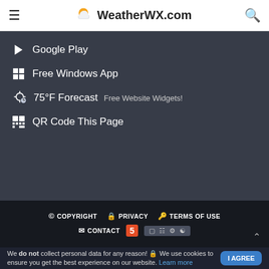WeatherWX.com
Google Play
Free Windows App
75°F Forecast  Free Website Widgets!
QR Code This Page
© COPYRIGHT  🔒 PRIVACY  🔨 TERMS OF USE  ✉ CONTACT
We do not collect personal data for any reason! 🔒 We use cookies to ensure you get the best experience on our website. Learn more